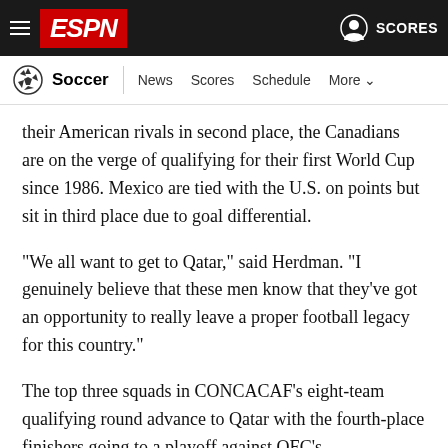ESPN - Soccer | News Scores Schedule More
their American rivals in second place, the Canadians are on the verge of qualifying for their first World Cup since 1986. Mexico are tied with the U.S. on points but sit in third place due to goal differential.
"We all want to get to Qatar," said Herdman. "I genuinely believe that these men know that they've got an opportunity to really leave a proper football legacy for this country."
The top three squads in CONCACAF's eight-team qualifying round advance to Qatar with the fourth-place finishers going to a playoff against OFC's representative.
Herdman had no lack of praise for his players, lauding the performances from players like Jonathan David and Cyle